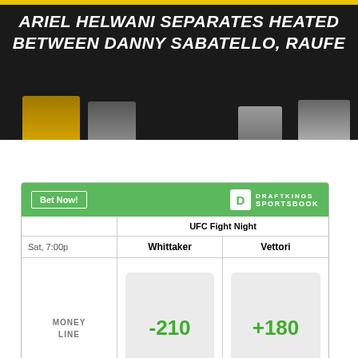ARIEL HELWANI SEPARATES HEATED BETWEEN DANNY SABATELLO, RAUFE
[Figure (screenshot): DraftKings Sportsbook betting widget showing UFC Fight Night odds: Whittaker -210, Vettori +180, Saturday 7:00p money line]
Odds/Lines subject to change. See draftkings.com for details.